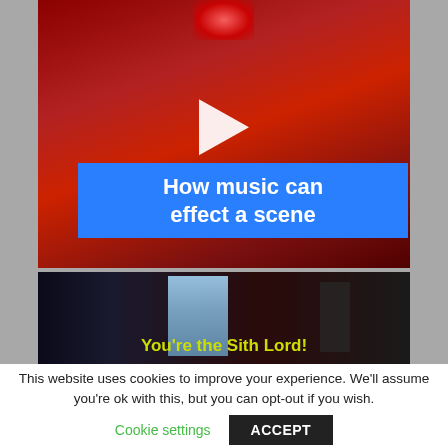[Figure (screenshot): Video thumbnail with dark red background and a white play button triangle in the center. A blue rectangle overlaid on the lower portion contains white bold text reading 'How music can effect a scene'.]
[Figure (screenshot): Video thumbnail with dark background showing a figure near a bright window. Yellow-green text at the bottom reads "You're the Sith Lord!"]
This website uses cookies to improve your experience. We'll assume you're ok with this, but you can opt-out if you wish.
Cookie settings
ACCEPT